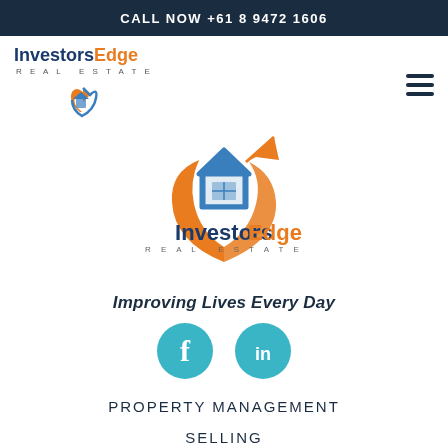CALL NOW +61 8 9472 1606
[Figure (logo): InvestorsEdge Real Estate logo in top navigation bar with house icon]
[Figure (logo): Large InvestorsEdge Real Estate logo with house and upward arrow graphic, blue and orange colors]
Improving Lives Every Day
[Figure (infographic): Facebook and LinkedIn social media circular buttons in teal/blue color]
PROPERTY MANAGEMENT
SELLING
INVESTING
CONTACT